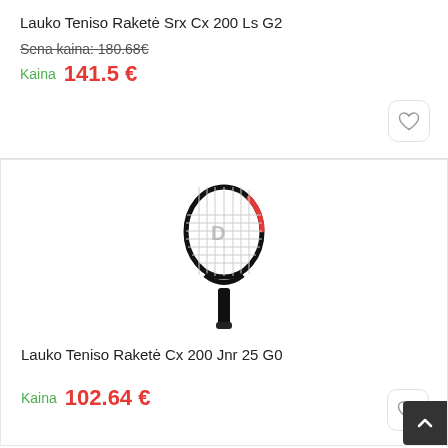Lauko Teniso Raketė Srx Cx 200 Ls G2
Sena kaina: 180.68€
Kaina 141.5 €
[Figure (photo): Tennis racket product image - Dunlop CX 200 Jnr 25 G0, black frame with red accent and white string pattern]
Lauko Teniso Raketė Cx 200 Jnr 25 G0
Kaina 102.64 €